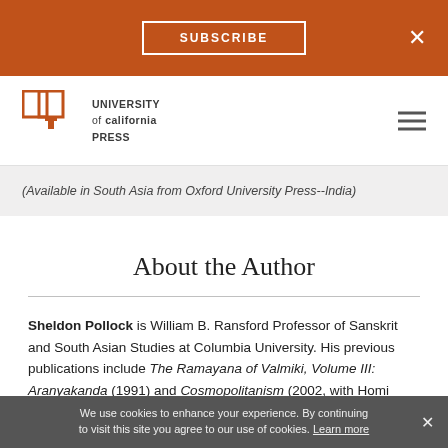SUBSCRIBE  ×
[Figure (logo): University of California Press logo with open book icon and text]
(Available in South Asia from Oxford University Press--India)
About the Author
Sheldon Pollock is William B. Ransford Professor of Sanskrit and South Asian Studies at Columbia University. His previous publications include The Ramayana of Valmiki, Volume III: Aranyakanda (1991) and Cosmopolitanism (2002, with Homi
We use cookies to enhance your experience. By continuing to visit this site you agree to our use of cookies. Learn more ×